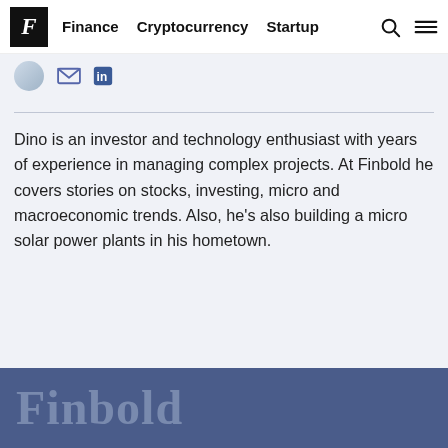F  Finance  Cryptocurrency  Startup
[Figure (other): Author avatar thumbnail (partially visible, circular crop) with email and LinkedIn social icons]
Dino is an investor and technology enthusiast with years of experience in managing complex projects. At Finbold he covers stories on stocks, investing, micro and macroeconomic trends. Also, he's also building a micro solar power plants in his hometown.
Finbold